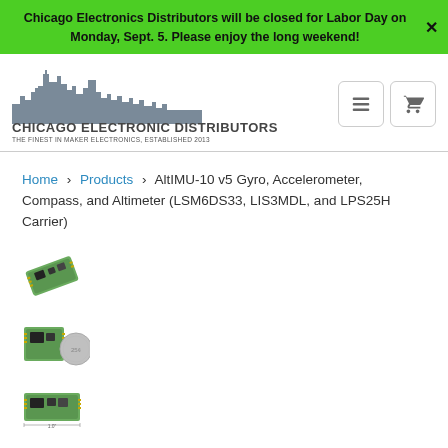Chicago Electronics Distributors will be closed for Labor Day on Monday, Sept. 5. Please enjoy the long weekend!
[Figure (logo): Chicago Electronic Distributors logo with city skyline silhouette, company name and tagline 'THE FINEST IN MAKER ELECTRONICS, ESTABLISHED 2013']
Home > Products > AltIMU-10 v5 Gyro, Accelerometer, Compass, and Altimeter (LSM6DS33, LIS3MDL, and LPS25H Carrier)
[Figure (photo): Small green PCB circuit board thumbnail - AltIMU-10 v5 top view]
[Figure (photo): Small green PCB circuit board next to a coin for size reference thumbnail]
[Figure (photo): Small green PCB circuit board thumbnail - alternate view]